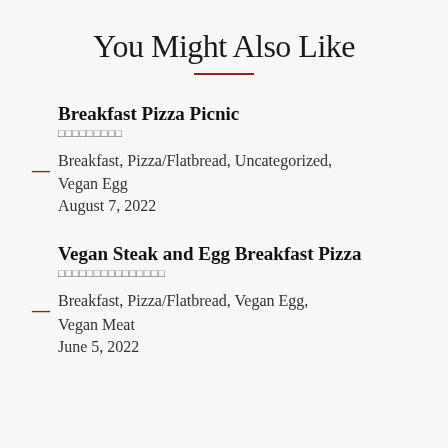You Might Also Like
Breakfast Pizza Picnic
□□□□□□□□□
Breakfast, Pizza/Flatbread, Uncategorized, Vegan Egg
August 7, 2022
Vegan Steak and Egg Breakfast Pizza
□□□□□□□□□□□□□□□
Breakfast, Pizza/Flatbread, Vegan Egg, Vegan Meat
June 5, 2022